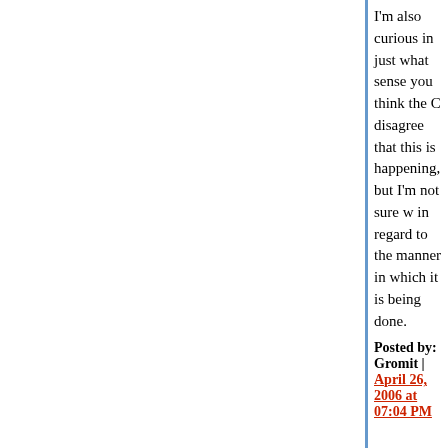I'm also curious in just what sense you think the C disagree that this is happening, but I'm not sure w in regard to the manner in which it is being done.
Posted by: Gromit | April 26, 2006 at 07:04 PM
Extraordinary circumstances call for extreme mea CIA to do what is best for the country.
Wouldn't that be what they believe is best for the
Are you really advocating that career civil servant undermine the elected government?
Posted by: OCSteve | April 26, 2006 at 07:21 PM
The secret airline, the prisons, the NSA gig – thos damaging both to our national security and to our But apparently some insiders are willing to accep undermines the current administration.
I think you are too willing to assume that the insid undermine the administration. We don't know thei disapprove of their actions, surely it's possible the